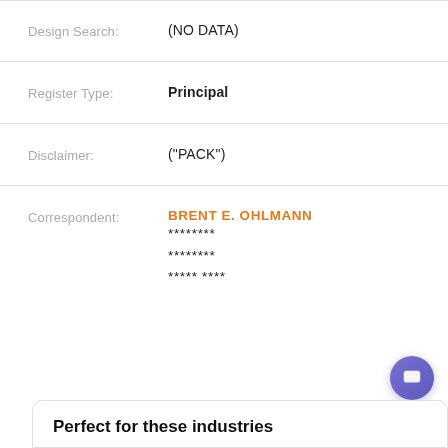| Field | Value |
| --- | --- |
| Design Search: | (NO DATA) |
| Register Type: | Principal |
| Disclaimer: | ("PACK") |
| Correspondent: | BRENT E. OHLMANN
********
********
***** **** |
Perfect for these industries